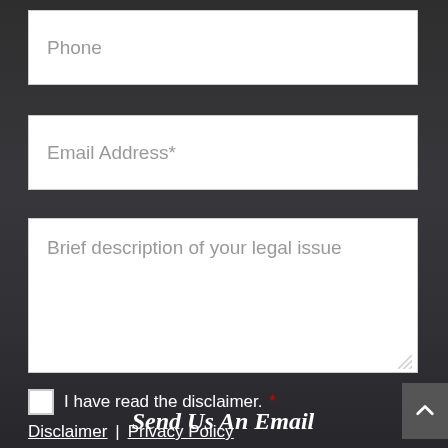Phone
Email Address*
Brief description of your legal issue
I have read the disclaimer. *
Disclaimer | Privacy Policy
Send Us An Email